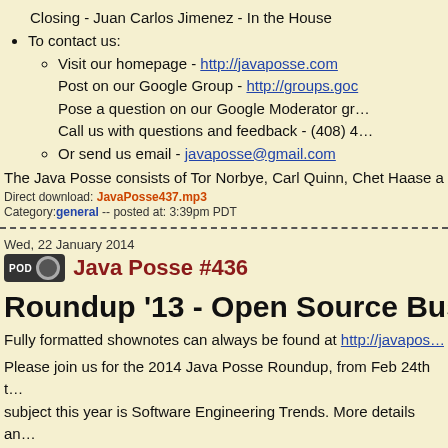Closing - Juan Carlos Jimenez - In the House
To contact us:
Visit our homepage - http://javaposse.com
Post on our Google Group - http://groups.goo...
Pose a question on our Google Moderator gr...
Call us with questions and feedback - (408) 4...
Or send us email - javaposse@gmail.com
The Java Posse consists of Tor Norbye, Carl Quinn, Chet Haase a...
Direct download: JavaPosse437.mp3
Category:general -- posted at: 3:39pm PDT
Wed, 22 January 2014
Java Posse #436
Roundup '13 - Open Source Business
Fully formatted shownotes can always be found at http://javapos...
Please join us for the 2014 Java Posse Roundup, from Feb 24th t... subject this year is Software Engineering Trends. More details an... http://www.mindviewinc.com/Conferences/JavaPosseRoundup/
Service